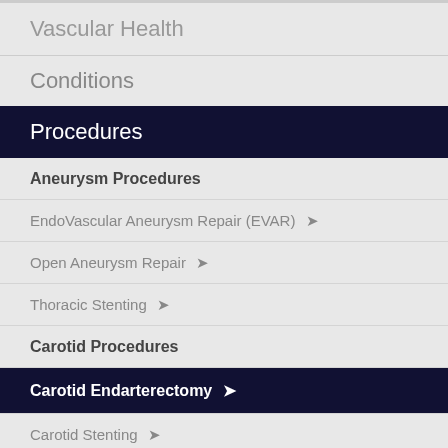Vascular Health
Conditions
Procedures
Aneurysm Procedures
EndoVascular Aneurysm Repair (EVAR) ›
Open Aneurysm Repair ›
Thoracic Stenting ›
Carotid Procedures
Carotid Endarterectomy ›
Carotid Stenting ›
Peripheral Arterial Disease Procedures
Angioplasty and Stenting ›
Femoral Endarterectomy ›
Peripheral Arterial Bypass Graft ›
Other Procedures
Sympathectomy ›
Thoracic Outlet Procedures ›